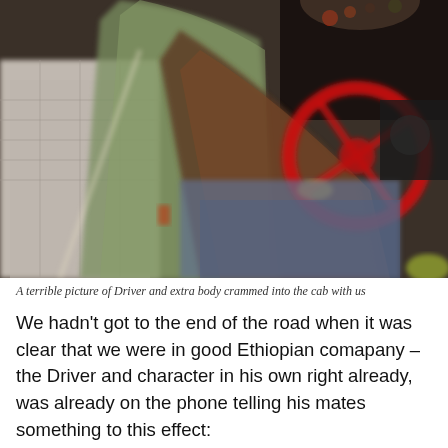[Figure (photo): A blurry photo taken inside a cab showing a person in a green shirt and another person in a white checked shirt, with a red steering wheel visible. The image is motion-blurred.]
A terrible picture of Driver and extra body crammed into the cab with us
We hadn't got to the end of the road when it was clear that we were in good Ethiopian comapany – the Driver and character in his own right already, was already on the phone telling his mates something to this effect: